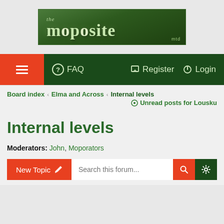[Figure (logo): The Moposite logo — dark green background with stylized 'the moposite' text and 'mtd' label in bottom right]
≡  FAQ    Register  Login
Board index ‹ Elma and Across ‹ Internal levels
Unread posts for Lousku
Internal levels
Moderators: John, Moporators
New Topic    Search this forum...